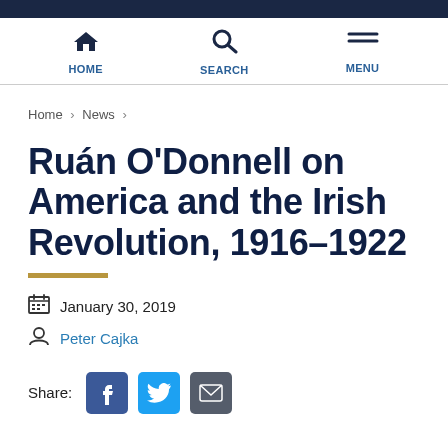HOME | SEARCH | MENU
Home › News ›
Ruán O'Donnell on America and the Irish Revolution, 1916–1922
January 30, 2019
Peter Cajka
Share: